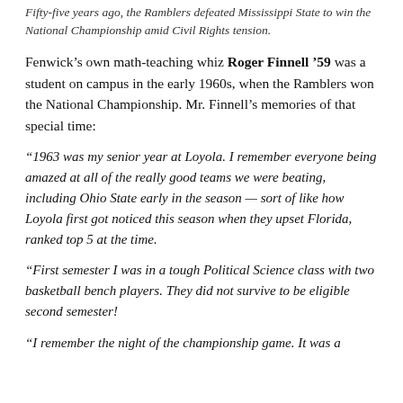Fifty-five years ago, the Ramblers defeated Mississippi State to win the National Championship amid Civil Rights tension.
Fenwick's own math-teaching whiz Roger Finnell '59 was a student on campus in the early 1960s, when the Ramblers won the National Championship. Mr. Finnell's memories of that special time:
“1963 was my senior year at Loyola. I remember everyone being amazed at all of the really good teams we were beating, including Ohio State early in the season — sort of like how Loyola first got noticed this season when they upset Florida, ranked top 5 at the time.
“First semester I was in a tough Political Science class with two basketball bench players. They did not survive to be eligible second semester!
“I remember the night of the championship game. It was a